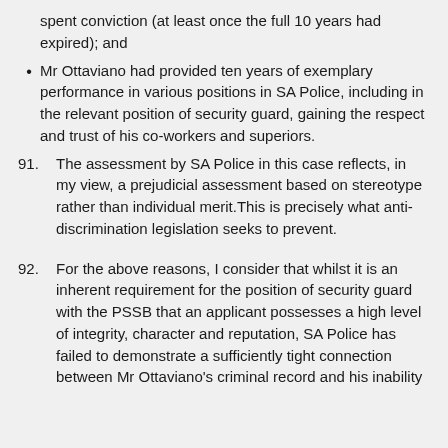spent conviction (at least once the full 10 years had expired); and
Mr Ottaviano had provided ten years of exemplary performance in various positions in SA Police, including in the relevant position of security guard, gaining the respect and trust of his co-workers and superiors.
91. The assessment by SA Police in this case reflects, in my view, a prejudicial assessment based on stereotype rather than individual merit.This is precisely what anti-discrimination legislation seeks to prevent.
92. For the above reasons, I consider that whilst it is an inherent requirement for the position of security guard with the PSSB that an applicant possesses a high level of integrity, character and reputation, SA Police has failed to demonstrate a sufficiently tight connection between Mr Ottaviano's criminal record and his inability